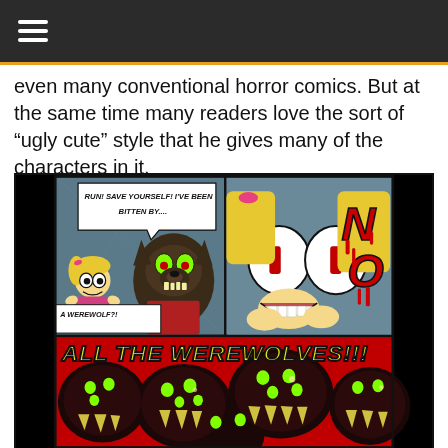≡ (hamburger menu icon)
even many conventional horror comics. But at the same time many readers love the sort of “ugly cute” style that he gives many of the characters in it.
[Figure (illustration): Horror comic strip showing a werewolf bite scene. Top left panel: a scared blonde girl with pigtails saying 'RUN! SAVE YOURSELF! I'VE BEEN BITTEN BY....' with a dark werewolf creature with green eyes and yellow claws. Bottom left panel caption: 'A WEREWOLF?!' Top right panel: close-up of the girl's wide cartoon eyes and shocked expression with 'NO' in red dripping letters. Bottom panel: red background with text 'ALL THE WEREWOLVES!!!' and multiple dark fuzzy werewolf creatures with glowing green eyes and yellow teeth.]